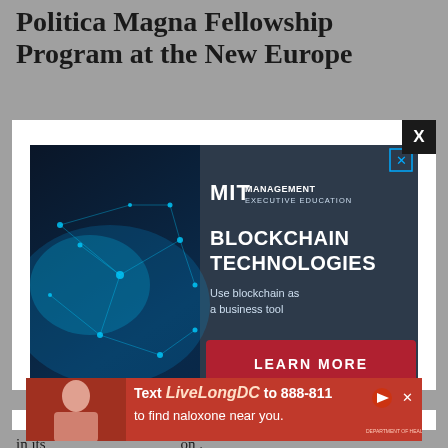Politica Magna Fellowship Program at the New Europe
[Figure (advertisement): MIT Management Executive Education advertisement for Blockchain Technologies course. Left half shows blue network/tech background image. Right half on dark slate background shows MIT Management Executive Education logo, text 'BLOCKCHAIN TECHNOLOGIES', 'Use blockchain as a business tool', and a red 'LEARN MORE' button. Has X close button.]
[Figure (advertisement): Red banner advertisement: 'Text LiveLongDC to 888-811 to find naloxone near you.' with health authority logos. Has X close and arrow buttons.]
in its . on . This rs,